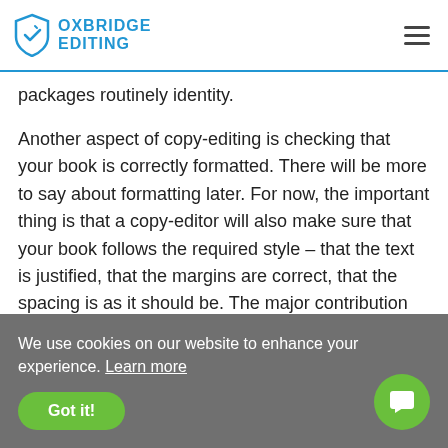OXBRIDGE EDITING
packages routinely identity.
Another aspect of copy-editing is checking that your book is correctly formatted. There will be more to say about formatting later. For now, the important thing is that a copy-editor will also make sure that your book follows the required style – that the text is justified, that the margins are correct, that the spacing is as it should be. The major contribution that a copy-editor brings to your book is painstaking attention.
Proofreading
We use cookies on our website to enhance your experience. Learn more